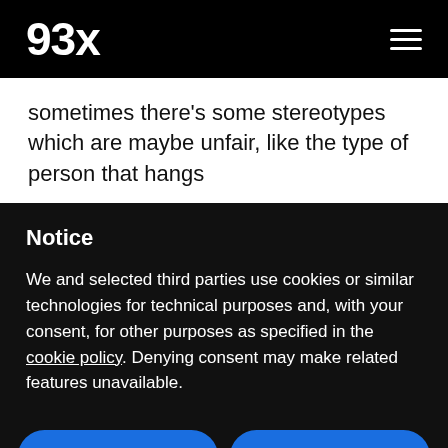93x
sometimes there's some stereotypes which are maybe unfair, like the type of person that hangs
Notice
We and selected third parties use cookies or similar technologies for technical purposes and, with your consent, for other purposes as specified in the cookie policy. Denying consent may make related features unavailable.
Reject
Accept
Learn more and customize